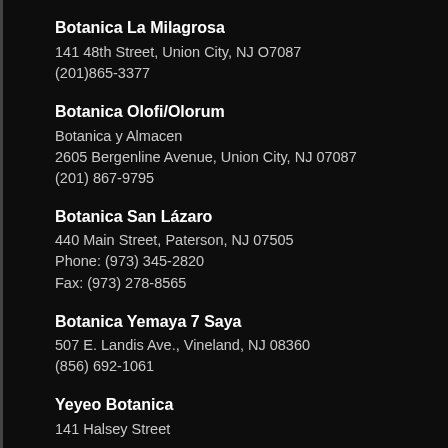Botanica La Milagrosa
141 48th Street, Union City, NJ O7087
(201)865-3377
Botanica Olofi/Olorum
Botanica y Almacen
2605 Bergenline Avenue, Union City, NJ 07087
(201) 867-9795
Botanica San Lázaro
440 Main Street, Paterson, NJ 07505
Phone: (973) 345-2820
Fax: (973) 278-8565
Botanica Yemaya 7 Saya
507 E. Landis Ave., Vineland, NJ 08360
(856) 692-1061
Yeyeo Botanica
141 Halsey Street